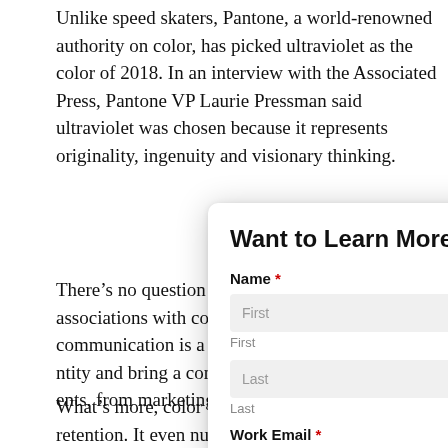Unlike speed skaters, Pantone, a world-renowned authority on color, has picked ultraviolet as the color of 2018. In an interview with the Associated Press, Pantone VP Laurie Pressman said ultraviolet was chosen because it represents originality, ingenuity and visionary thinking.
There's no question people associate certain qualities and associations with colors, and brands take to heart. Color comm... tool to reinforce brand ide... look and feel to all docum... financial communications.
Want to Learn More?
Name *
First
Last
Work Email *
What's more, color boost... and retention. It even nud...